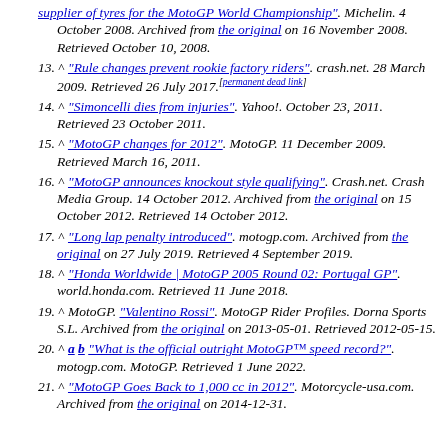supplier of tyres for the MotoGP World Championship". Michelin. 4 October 2008. Archived from the original on 16 November 2008. Retrieved October 10, 2008.
13. ^ "Rule changes prevent rookie factory riders". crash.net. 28 March 2009. Retrieved 26 July 2017.[permanent dead link]
14. ^ "Simoncelli dies from injuries". Yahoo!. October 23, 2011. Retrieved 23 October 2011.
15. ^ "MotoGP changes for 2012". MotoGP. 11 December 2009. Retrieved March 16, 2011.
16. ^ "MotoGP announces knockout style qualifying". Crash.net. Crash Media Group. 14 October 2012. Archived from the original on 15 October 2012. Retrieved 14 October 2012.
17. ^ "Long lap penalty introduced". motogp.com. Archived from the original on 27 July 2019. Retrieved 4 September 2019.
18. ^ "Honda Worldwide | MotoGP 2005 Round 02: Portugal GP". world.honda.com. Retrieved 11 June 2018.
19. ^ MotoGP. "Valentino Rossi". MotoGP Rider Profiles. Dorna Sports S.L. Archived from the original on 2013-05-01. Retrieved 2012-05-15.
20. ^ a b "What is the official outright MotoGP™ speed record?". motogp.com. MotoGP. Retrieved 1 June 2022.
21. ^ "MotoGP Goes Back to 1,000 cc in 2012". Motorcycle-usa.com. Archived from the original on 2014-12-31.